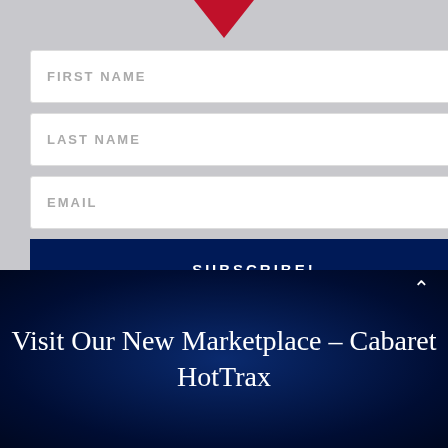[Figure (illustration): Red downward-pointing arrow/chevron logo at the top center of the gray section]
FIRST NAME
LAST NAME
EMAIL
SUBSCRIBE!
Visit Our New Marketplace – Cabaret HotTrax